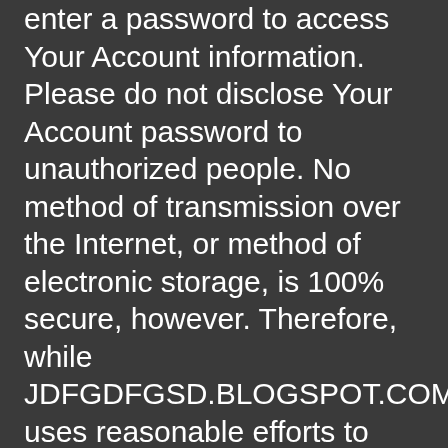enter a password to access Your Account information. Please do not disclose Your Account password to unauthorized people. No method of transmission over the Internet, or method of electronic storage, is 100% secure, however. Therefore, while JDFGDFGSD.BLOGSPOT.COM uses reasonable efforts to Your Personal Data, JDFGDFGSD.BLOGSPOT.COM cannot guarantee its absolute security.
XII Changes To